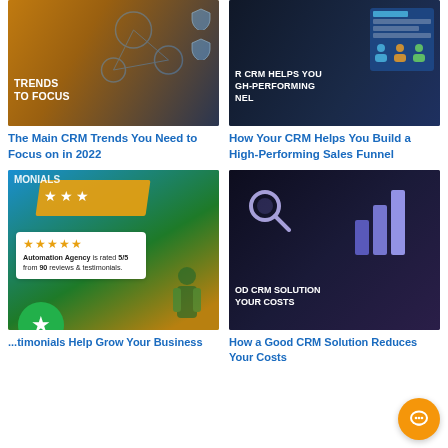[Figure (photo): Yellow tech background image with text 'TRENDS TO FOCUS' and shield icons overlay - CRM Trends article thumbnail]
[Figure (photo): Dark blue CRM dashboard background image with text 'R CRM HELPS YOU GH-PERFORMING NEL' - High-Performing Sales Funnel article thumbnail]
The Main CRM Trends You Need to Focus on in 2022
How Your CRM Helps You Build a High-Performing Sales Funnel
[Figure (photo): Colorful illustration with blue/green/orange background showing star ratings. White rating box showing: Automation Agency is rated 5/5 from 90 reviews & testimonials. Green circular badge with white star. Text 'MONIALS' and 'L' visible.]
[Figure (photo): Dark background 3D illustration showing magnifier and bar chart with purple/blue tones. Text 'OD CRM SOLUTION YOUR COSTS' visible at bottom.]
...timonials Help Grow Your Business
How a Good CRM Solution Reduces Your Costs